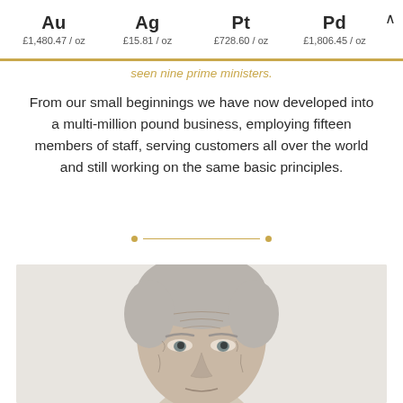Au £1,480.47/oz  Ag £15.81/oz  Pt £728.60/oz  Pd £1,806.45/oz
seen nine prime ministers.
From our small beginnings we have now developed into a multi-million pound business, employing fifteen members of staff, serving customers all over the world and still working on the same basic principles.
[Figure (photo): Portrait photo of an elderly man with grey hair, visible from forehead to chin, against a light grey background.]